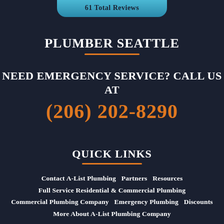61 Total Reviews
PLUMBER SEATTLE
NEED EMERGENCY SERVICE? CALL US AT
(206) 202-8290
QUICK LINKS
Contact A-List Plumbing  Partners  Resources
Full Service Residential & Commercial Plumbing
Commercial Plumbing Company  Emergency Plumbing  Discounts
More About A-List Plumbing Company